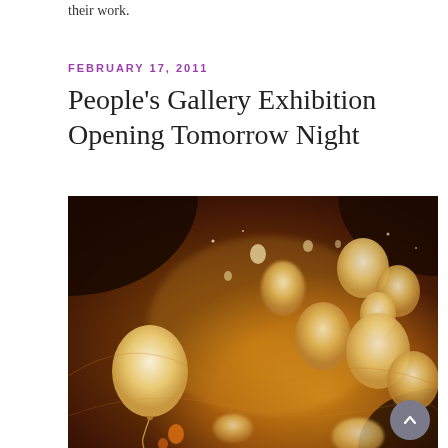their work.
FEBRUARY 17, 2011
People's Gallery Exhibition Opening Tomorrow Night
[Figure (photo): Abstract artwork showing glowing pale orbs and balloon-like forms floating against a warm amber and dark brown swirling background, reminiscent of bokeh or encaustic painting with organic bubble shapes.]